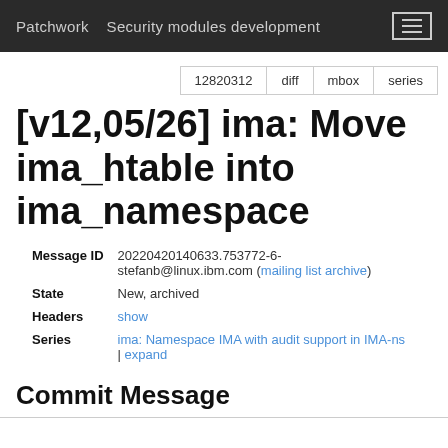Patchwork   Security modules development
12820312   diff   mbox   series
[v12,05/26] ima: Move ima_htable into ima_namespace
| Field | Value |
| --- | --- |
| Message ID | 20220420140633.753772-6-stefanb@linux.ibm.com (mailing list archive) |
| State | New, archived |
| Headers | show |
| Series | ima: Namespace IMA with audit support in IMA-ns | expand |
Commit Message